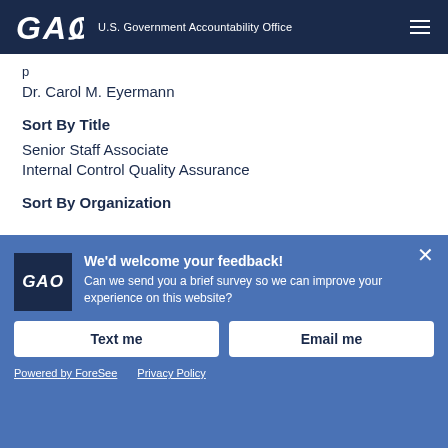GAO U.S. Government Accountability Office
Dr. Carol M. Eyermann
Sort By Title
Senior Staff Associate
Internal Control Quality Assurance
Sort By Organization
We'd welcome your feedback! Can we send you a brief survey so we can improve your experience on this website?
Text me
Email me
Powered by ForeSee   Privacy Policy